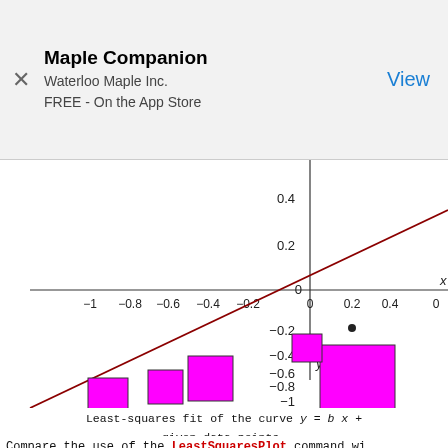[Figure (screenshot): App Store banner for Maple Companion by Waterloo Maple Inc., FREE on the App Store, with View button]
[Figure (scatter-plot): Least-squares fit scatter plot with magenta residual squares, diagonal dark red fit line, axes from -1 to 0.4 (y) and -1 to 0.6+ (x), data points shown as small dots, axis labels x and y]
Least-squares fit of the curve y = b x + given data points.
Compare the use of the LeastSquaresPlot command wi